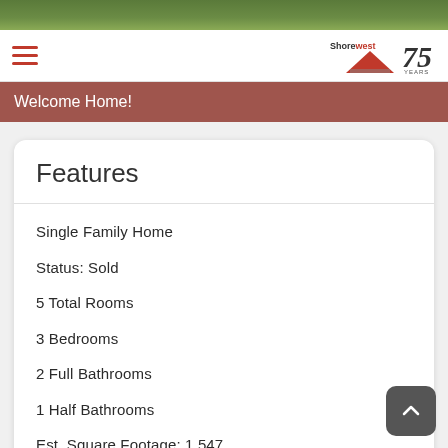[Figure (photo): Outdoor photo strip showing green foliage/grass at top of page]
Shorewest 75 Years — navigation header with hamburger menu and logo
Welcome Home!
Features
Single Family Home
Status: Sold
5 Total Rooms
3 Bedrooms
2 Full Bathrooms
1 Half Bathrooms
Est. Square Footage: 1,547
Est. Above Grade Sq Ft: 1,547
Garage: 2.0, Attached